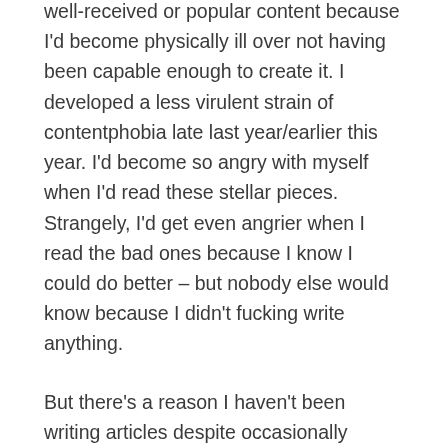well-received or popular content because I'd become physically ill over not having been capable enough to create it. I developed a less virulent strain of contentphobia late last year/earlier this year. I'd become so angry with myself when I'd read these stellar pieces. Strangely, I'd get even angrier when I read the bad ones because I know I could do better – but nobody else would know because I didn't fucking write anything.
But there's a reason I haven't been writing articles despite occasionally wanting to: I've been working on something with much more staying power than the 18th repackaging of a